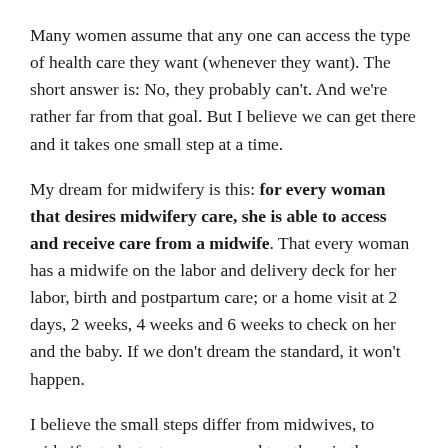Many women assume that any one can access the type of health care they want (whenever they want). The short answer is: No, they probably can't. And we're rather far from that goal. But I believe we can get there and it takes one small step at a time.
My dream for midwifery is this: for every woman that desires midwifery care, she is able to access and receive care from a midwife. That every woman has a midwife on the labor and delivery deck for her labor, birth and postpartum care; or a home visit at 2 days, 2 weeks, 4 weeks and 6 weeks to check on her and the baby. If we don't dream the standard, it won't happen.
I believe the small steps differ from midwives, to midwife students, to women, and to others in the journey…but it's helpful to see it from every person's point of view. Start now. Start today. Together, we can do anything.